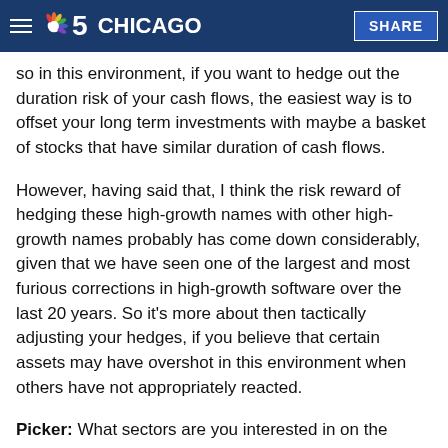NBC 5 Chicago — SHARE
so in this environment, if you want to hedge out the duration risk of your cash flows, the easiest way is to offset your long term investments with maybe a basket of stocks that have similar duration of cash flows.
However, having said that, I think the risk reward of hedging these high-growth names with other high-growth names probably has come down considerably, given that we have seen one of the largest and most furious corrections in high-growth software over the last 20 years. So it's more about then tactically adjusting your hedges, if you believe that certain assets may have overshot in this environment when others have not appropriately reacted.
Picker: What sectors are you interested in on the longer side